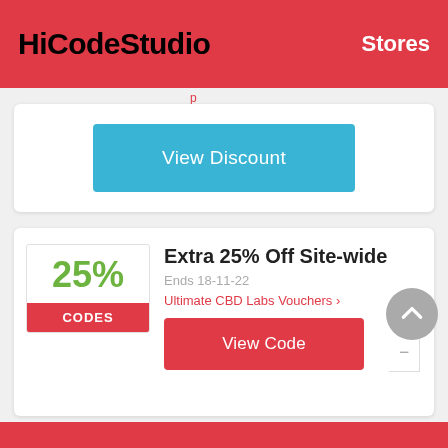HiCodeStudio   Stores
[Figure (screenshot): View Discount button (teal/blue) inside white card]
Extra 25% Off Site-wide
Ends 18-11-22
Ultimate CBD Labs Vouchers >
[Figure (infographic): 25% badge with CODES label in red]
View Code